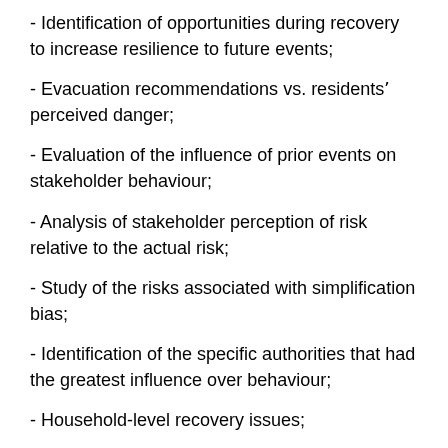- Identification of opportunities during recovery to increase resilience to future events;
- Evacuation recommendations vs. residents' perceived danger;
- Evaluation of the influence of prior events on stakeholder behaviour;
- Analysis of stakeholder perception of risk relative to the actual risk;
- Study of the risks associated with simplification bias;
- Identification of the specific authorities that had the greatest influence over behaviour;
- Household-level recovery issues;
- Communication between emergency management officials and residents;
- Communication of information about property damage;